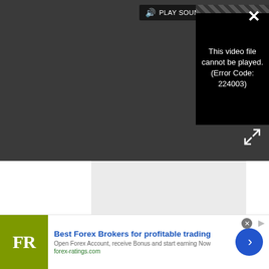[Figure (screenshot): Video player UI with dark grey background. Shows PLAY SOUND button with speaker icon at top. Video error box with diagonal stripes and text 'This video file cannot be played. (Error Code: 224003)'. Close X button top right, expand arrows bottom right.]
[Figure (screenshot): Grey rectangle placeholder below the video player area.]
Postcards - Windows Phone 8 - 2MB - Free - Store Link
[Figure (screenshot): Advertisement banner for forex-ratings.com. FR logo in olive/yellow-green square. Text: Best Forex Brokers for profitable trading. Open Forex Account, receive Bonus and start earning Now. forex-ratings.com. Blue circle arrow button on right.]